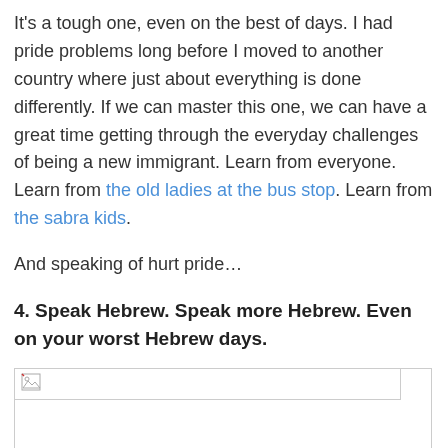It's a tough one, even on the best of days. I had pride problems long before I moved to another country where just about everything is done differently. If we can master this one, we can have a great time getting through the everyday challenges of being a new immigrant. Learn from everyone. Learn from the old ladies at the bus stop. Learn from the sabra kids.
And speaking of hurt pride…
4. Speak Hebrew. Speak more Hebrew. Even on your worst Hebrew days.
[Figure (photo): Image placeholder with broken image icon, showing an empty white box with a small broken image indicator in the top-left corner]